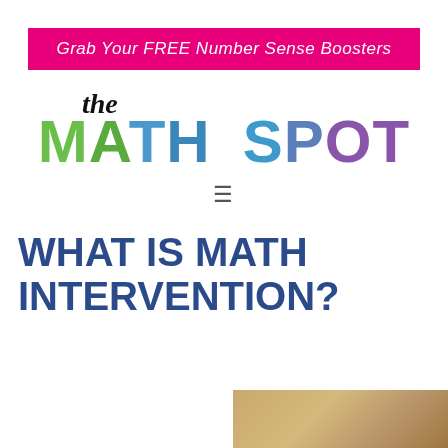Grab Your FREE Number Sense Boosters
[Figure (logo): The Math Spot logo with 'the' in handwritten script black text above 'MATH SPOT' in large bold colorful letters: MATH in green/blue gradient, SPOT in blue/purple gradient]
[Figure (other): Hamburger menu icon (three horizontal lines)]
WHAT IS MATH INTERVENTION?
[Figure (photo): Partial photo visible at bottom right of page]